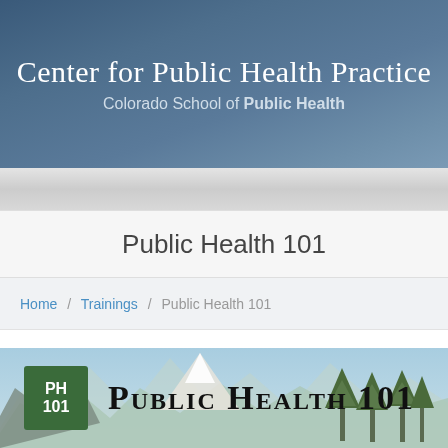Center for Public Health Practice
Colorado School of Public Health
Public Health 101
Home / Trainings / Public Health 101
[Figure (logo): Public Health 101 banner with PH101 green logo box and large bold text 'PUBLIC HEALTH 101' on a mountain/tree landscape background]